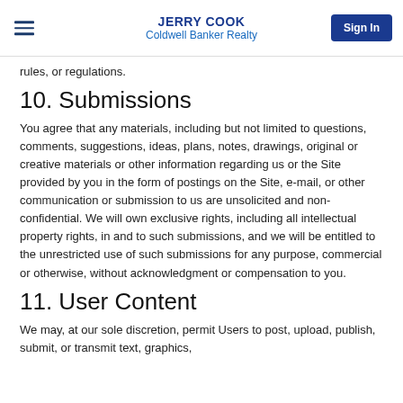JERRY COOK
Coldwell Banker Realty
rules, or regulations.
10. Submissions
You agree that any materials, including but not limited to questions, comments, suggestions, ideas, plans, notes, drawings, original or creative materials or other information regarding us or the Site provided by you in the form of postings on the Site, e-mail, or other communication or submission to us are unsolicited and non-confidential. We will own exclusive rights, including all intellectual property rights, in and to such submissions, and we will be entitled to the unrestricted use of such submissions for any purpose, commercial or otherwise, without acknowledgment or compensation to you.
11. User Content
We may, at our sole discretion, permit Users to post, upload, publish, submit, or transmit text, graphics,